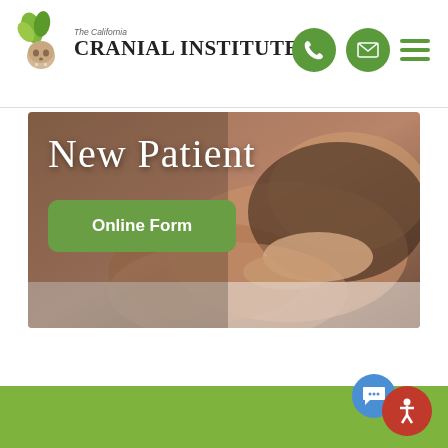[Figure (logo): The California Cranial Institute logo with leaf/skull icon and institute name]
[Figure (photo): Woman lying on treatment table receiving cranial/neck therapy from practitioner's hands, hero banner with 'New Patient' heading and 'Online Form' button]
[Figure (other): Green footer section at bottom of page with floating chat and accessibility icons]